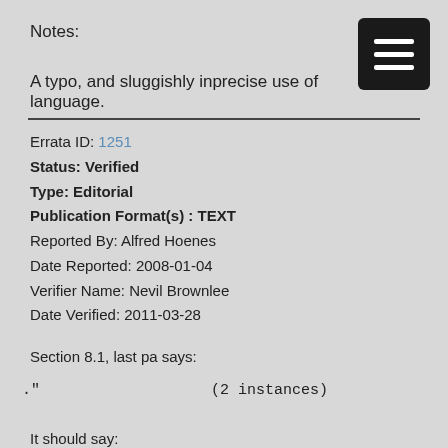Notes:
A typo, and sluggishly inprecise use of language.
Errata ID: 1251
Status: Verified
Type: Editorial
Publication Format(s) : TEXT
Reported By: Alfred Hoenes
Date Reported: 2008-01-04
Verifier Name: Nevil Brownlee
Date Verified: 2011-03-28
Section 8.1, last pa says:
."                   (2 instances)
It should say:
".
Notes:
The last paragraph of Section 8.1 again contains two syntax